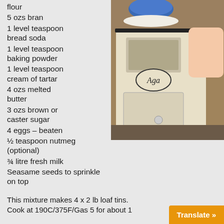flour
5 ozs bran
1 level teaspoon bread soda
1 level teaspoon baking powder
1 level teaspoon cream of tartar
4 ozs melted butter
3 ozs brown or caster sugar
4 eggs – beaten
½ teaspoon nutmeg (optional)
¾ litre fresh milk
Seasame seeds to sprinkle on top
[Figure (photo): Person opening the door of a cream-coloured Aga range cooker in a kitchen with wooden cabinetry, blue pot visible on top.]
This mixture makes 4 x 2 lb loaf tins. Cook at 190C/375F/Gas 5 for about 1